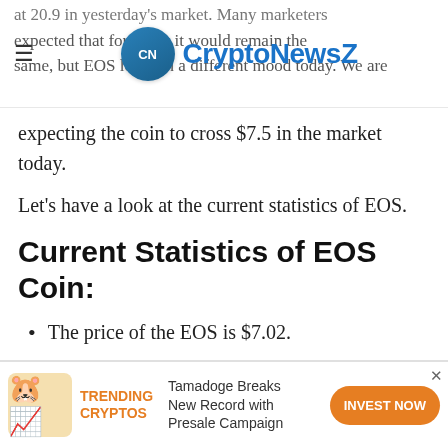CryptoNewsZ
expecting the coin to cross $7.5 in the market today.
Let’s have a look at the current statistics of EOS.
Current Statistics of EOS Coin:
The price of the EOS is $7.02.
The coin is at the 6th rank in the crypto market.
The EOS marked 24hr volume around $2,168,257,890.
TRENDING CRYPTOS — Tamadoge Breaks New Record with Presale Campaign — INVEST NOW